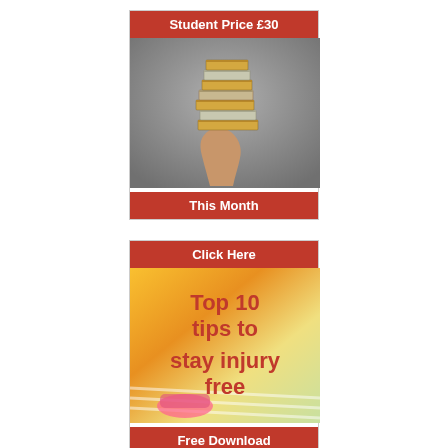Student Price £30
[Figure (photo): A muscular arm/hand balancing a tall stack of books against a grey background]
This Month
Click Here
[Figure (photo): Running shoes/feet on a track with colourful background and overlaid text: 'Top 10 tips to stay injury free']
Free Download